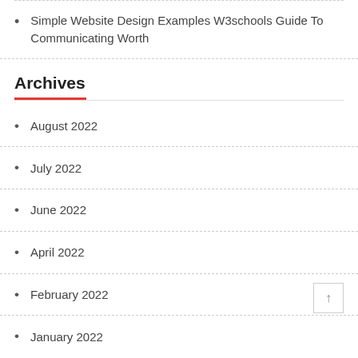Simple Website Design Examples W3schools Guide To Communicating Worth
Archives
August 2022
July 2022
June 2022
April 2022
February 2022
January 2022